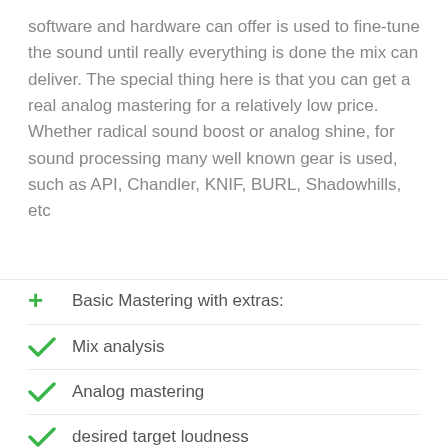software and hardware can offer is used to fine-tune the sound until really everything is done the mix can deliver. The special thing here is that you can get a real analog mastering for a relatively low price. Whether radical sound boost or analog shine, for sound processing many well known gear is used, such as API, Chandler, KNIF, BURL, Shadowhills, etc
Basic Mastering with extras:
Mix analysis
Analog mastering
desired target loudness
Fades